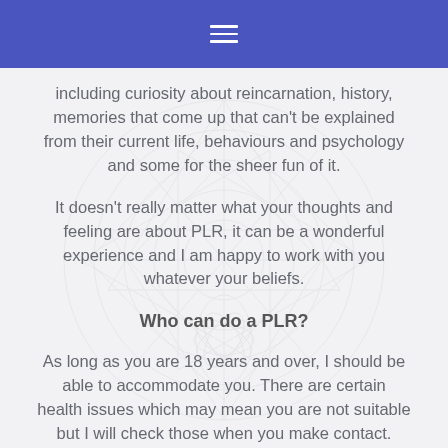[hamburger menu icon]
including curiosity about reincarnation, history, memories that come up that can't be explained from their current life, behaviours and psychology and some for the sheer fun of it.
It doesn't really matter what your thoughts and feeling are about PLR, it can be a wonderful experience and I am happy to work with you whatever your beliefs.
Who can do a PLR?
As long as you are 18 years and over, I should be able to accommodate you. There are certain health issues which may mean you are not suitable but I will check those when you make contact.